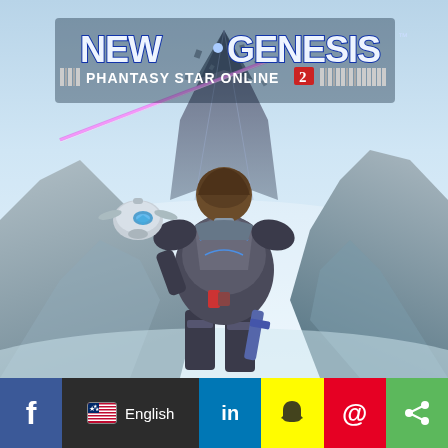[Figure (illustration): Phantasy Star Online 2: New Genesis game cover art. Shows a male character in dark sci-fi armor viewed from behind, holding a weapon, with a small robot companion floating nearby, dramatic mountains and a large alien structure in the sky, a pink laser beam, and the game logo 'NEW GENESIS: PHANTASY STAR ONLINE 2' at the top.]
[Figure (infographic): Social media sharing bar at the bottom containing: Facebook (blue), language selector showing US flag and 'English' on dark background, LinkedIn (blue), Snapchat (yellow), Pinterest (red), and generic share button (green).]